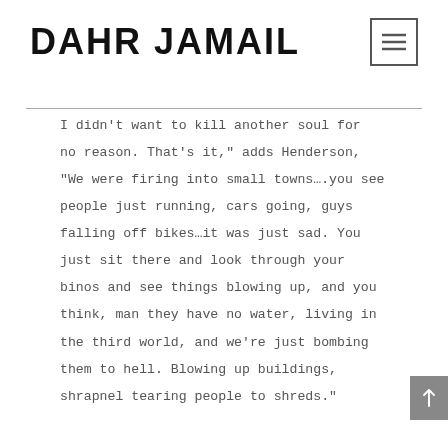DAHR JAMAIL
I didn't want to kill another soul for no reason. That's it," adds Henderson, "We were firing into small towns….you see people just running, cars going, guys falling off bikes…it was just sad. You just sit there and look through your binos and see things blowing up, and you think, man they have no water, living in the third world, and we're just bombing them to hell. Blowing up buildings, shrapnel tearing people to shreds."